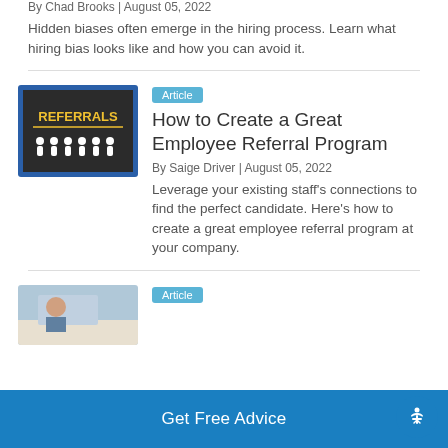By Chad Brooks | August 05, 2022
Hidden biases often emerge in the hiring process. Learn what hiring bias looks like and how you can avoid it.
[Figure (photo): Chalkboard with 'REFERRALS' written in yellow chalk, with white figures of people below it, on a blue background.]
Article
How to Create a Great Employee Referral Program
By Saige Driver | August 05, 2022
Leverage your existing staff's connections to find the perfect candidate. Here's how to create a great employee referral program at your company.
[Figure (photo): Partial view of a person working at a desk.]
Article
Get Free Advice